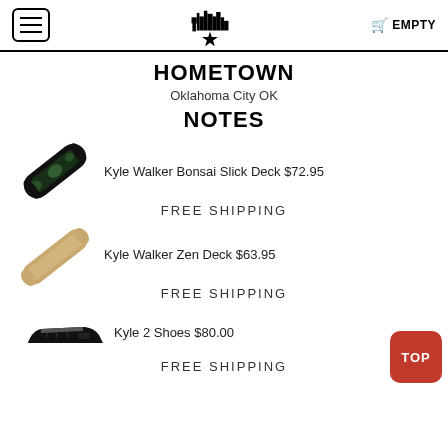EMPTY (cart)
HOMETOWN
Oklahoma City OK
NOTES
[Figure (photo): Kyle Walker Bonsai Slick skateboard deck, black with graphics, shown at an angle]
Kyle Walker Bonsai Slick Deck $72.95
FREE SHIPPING
[Figure (photo): Kyle Walker Zen skateboard deck, gold/tan color, shown at an angle]
Kyle Walker Zen Deck $63.95
FREE SHIPPING
[Figure (photo): Vans Kyle 2 black low-top shoes]
Kyle 2 Shoes $80.00
FREE SHIPPING